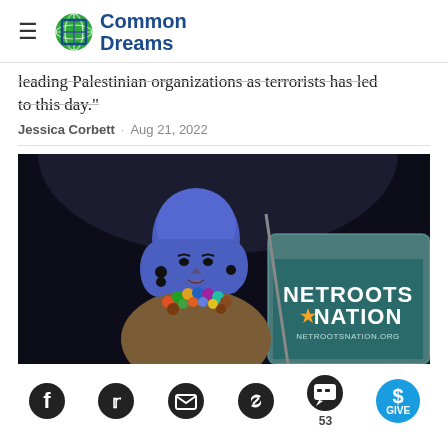Common Dreams
leading Palestinian organizations as terrorists has led to this day."
Jessica Corbett · Aug 21, 2022
[Figure (photo): A woman wearing a blue hijab and colorful beaded necklace speaks at a podium with a 'Netroots Nation' sign at netrootsnation.org]
Facebook, Twitter, Email, Link, Comment (53), GIVE